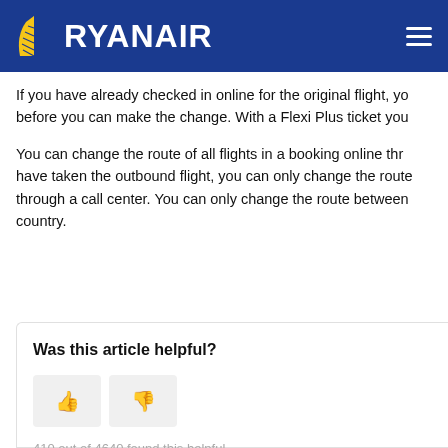RYANAIR
If you have already checked in online for the original flight, you must cancel the check-in before you can make the change. With a Flexi Plus ticket you can change without cancelling.
You can change the route of all flights in a booking online through Manage My Booking. If you have taken the outbound flight, you can only change the route of the return flight, and only through a call center. You can only change the route between the airports in the same country.
Was this article helpful?
410 out of 4640 found this helpful